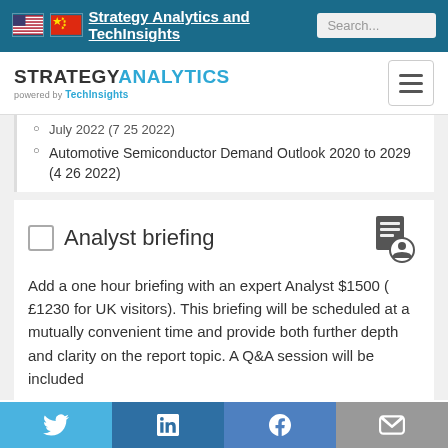Strategy Analytics and TechInsights
[Figure (logo): Strategy Analytics powered by TechInsights logo with hamburger menu icon]
July 2022 (7 25 2022)
Automotive Semiconductor Demand Outlook 2020 to 2029 (4 26 2022)
Analyst briefing
Add a one hour briefing with an expert Analyst $1500 ( £1230 for UK visitors). This briefing will be scheduled at a mutually convenient time and provide both further depth and clarity on the report topic. A Q&A session will be included